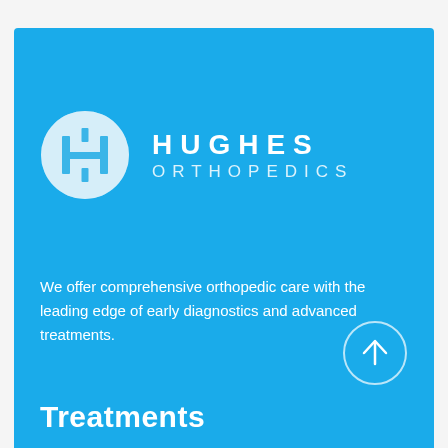[Figure (logo): Hughes Orthopedics logo: a white circle with a stylized H+ symbol inside, next to the text HUGHES ORTHOPEDICS in white letters on a blue background]
We offer comprehensive orthopedic care with the leading edge of early diagnostics and advanced treatments.
Treatments